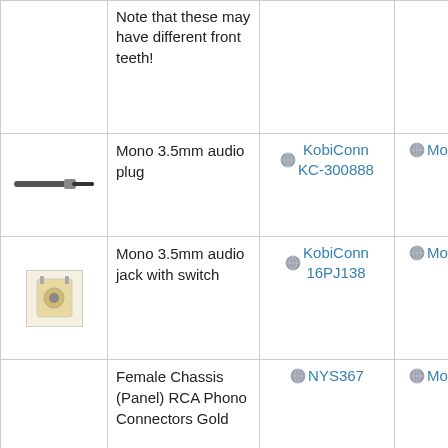| Image | Description | Source 1 | Source 2 |  |
| --- | --- | --- | --- | --- |
|  | Note that these may have different front teeth! |  |  |  |
| [mono plug image] | Mono 3.5mm audio plug | KobiConn KC-300888 | Mouser |  |
| [mono jack image] | Mono 3.5mm audio jack with switch | KobiConn 16PJ138 | Mouser |  |
|  | Female Chassis (Panel) RCA Phono Connectors Gold | NYS367 | Mouser |  |
|  | Female | Kobiconn | Mouser |  |